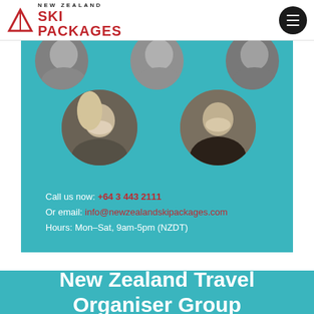NEW ZEALAND SKI PACKAGES
[Figure (photo): Circular grayscale portrait photos of team members, partially cropped at top]
[Figure (photo): Two circular grayscale portrait photos of female team members]
Call us now: +64 3 443 2111
Or email: info@newzealandskipackages.com
Hours: Mon–Sat, 9am-5pm (NZDT)
New Zealand Travel Organiser Group